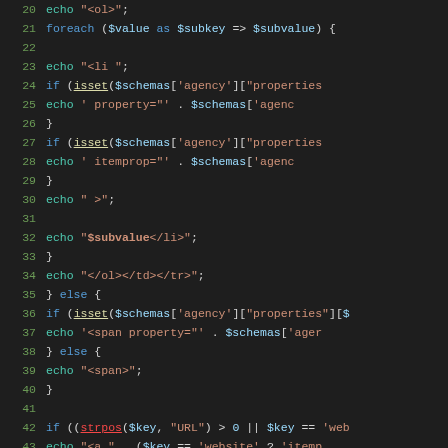Code snippet showing PHP code with line numbers 20-51, featuring foreach loops, isset checks, echo statements, and string operations with $schemas, $value, $subkey, $subvalue variables